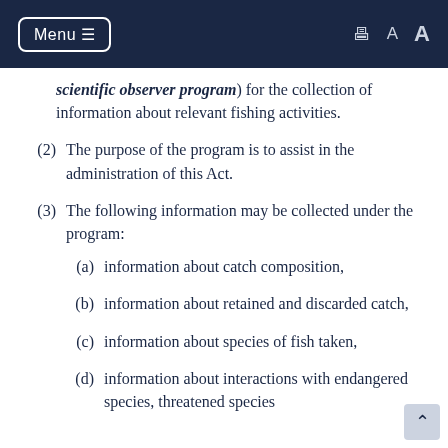Menu (navigation bar with print and font size controls)
scientific observer program) for the collection of information about relevant fishing activities.
(2) The purpose of the program is to assist in the administration of this Act.
(3) The following information may be collected under the program:
(a) information about catch composition,
(b) information about retained and discarded catch,
(c) information about species of fish taken,
(d) information about interactions with endangered species, threatened species